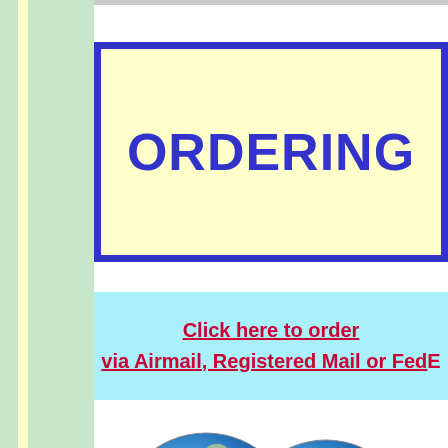ORDERING
Click here to order via Airmail, Registered Mail or FedEx
[Figure (illustration): Two globe spheres showing world map side by side]
DISTRIBUTORS